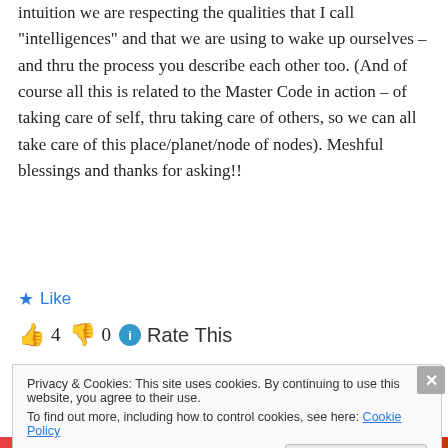intuition we are respecting the qualities that I call “intelligences” and that we are using to wake up ourselves – and thru the process you describe each other too. (And of course all this is related to the Master Code in action – of taking care of self, thru taking care of others, so we can all take care of this place/planet/node of nodes). Meshful blessings and thanks for asking!!
★ Like
👍 4 👎 0 ⓘ Rate This
Privacy & Cookies: This site uses cookies. By continuing to use this website, you agree to their use.
To find out more, including how to control cookies, see here: Cookie Policy
Close and accept